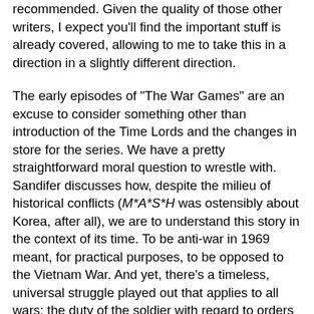recommended. Given the quality of those other writers, I expect you'll find the important stuff is already covered, allowing to me to take this in a direction in a slightly different direction.
The early episodes of "The War Games" are an excuse to consider something other than introduction of the Time Lords and the changes in store for the series. We have a pretty straightforward moral question to wrestle with. Sandifer discusses how, despite the milieu of historical conflicts (M*A*S*H was ostensibly about Korea, after all), we are to understand this story in the context of its time. To be anti-war in 1969 meant, for practical purposes, to be opposed to the Vietnam War. And yet, there's a timeless, universal struggle played out that applies to all wars: the duty of the soldier with regard to orders when those orders are immoral or insane. The mind control spectacles utilized by the Generals in this story take the moral culpability off the characters who are directly hypnotized, but they in turn relay the orders down the chain of command and it's at the point where we have soldiers who are not brainwashed that we find Carstairs and the others faced with carrying out the dubious orders of their